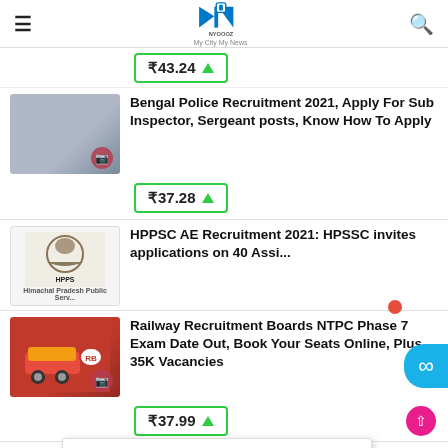NYOOOZ – My City My News
₹43.24 ▲
Bengal Police Recruitment 2021, Apply For Sub Inspector, Sergeant posts, Know How To Apply
₹37.28 ▲
HPPSC AE Recruitment 2021: HPSSC invites applications on 40 Assistant Engineers
Modi govt wrote off bank loans worth Rs 10 lakh crore by gifting waivers to...
New Delhi, Aug 6 (PTI) Senior Congress leade...
Trending
Read Next
Railway Recruitment Boards NTPC Phase 7 Exam Date Out, Book Your Seats Online, Plus 35K Vacancies
₹37.99 ▲